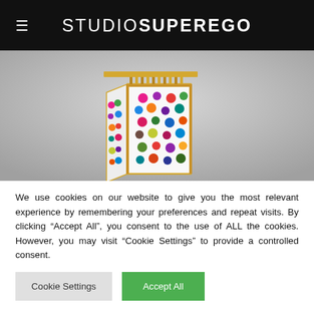≡ STUDIOSUPEREGO
[Figure (photo): Product photo of a rectangular perfume or decorative bottle with colorful polka dots on white panels, gold trim and cap, against a grey background]
We use cookies on our website to give you the most relevant experience by remembering your preferences and repeat visits. By clicking "Accept All", you consent to the use of ALL the cookies. However, you may visit "Cookie Settings" to provide a controlled consent.
Cookie Settings | Accept All